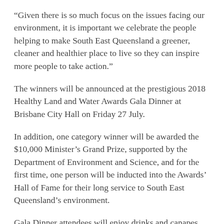“Given there is so much focus on the issues facing our environment, it is important we celebrate the people helping to make South East Queensland a greener, cleaner and healthier place to live so they can inspire more people to take action.”
The winners will be announced at the prestigious 2018 Healthy Land and Water Awards Gala Dinner at Brisbane City Hall on Friday 27 July.
In addition, one category winner will be awarded the $10,000 Minister’s Grand Prize, supported by the Department of Environment and Science, and for the first time, one person will be inducted into the Awards’ Hall of Fame for their long service to South East Queensland’s environment.
Gala Dinner attendees will enjoy drinks and canapes under the stars in King George Square and then a three-course meal beneath the backdrop of the iconic Brisbane City Hall